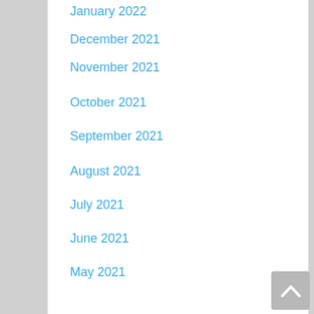January 2022
December 2021
November 2021
October 2021
September 2021
August 2021
July 2021
June 2021
May 2021
April 2021
March 2021
February 2021
January 2021
December 2020
November 2020
October 2020
September 2020
August 2020
July 2020
June 2020
May 2020
April 2020